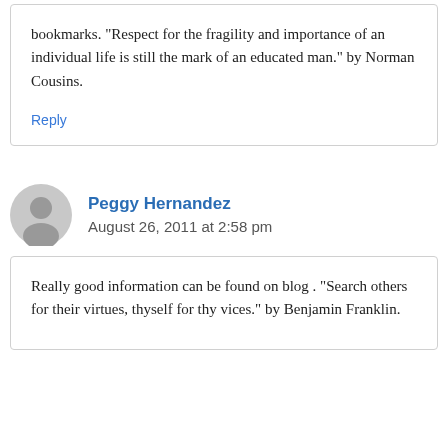bookmarks. “Respect for the fragility and importance of an individual life is still the mark of an educated man.” by Norman Cousins.
Reply
Peggy Hernandez
August 26, 2011 at 2:58 pm
Really good information can be found on blog . “Search others for their virtues, thyself for thy vices.” by Benjamin Franklin.